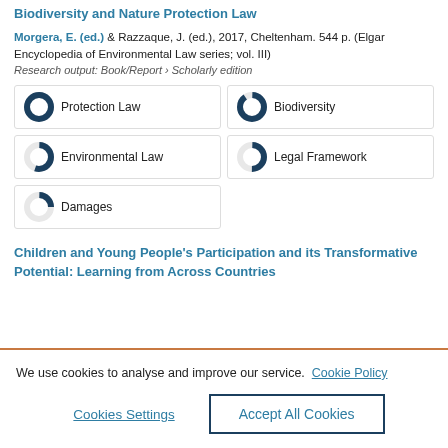Biodiversity and Nature Protection Law
Morgera, E. (ed.) & Razzaque, J. (ed.), 2017, Cheltenham. 544 p. (Elgar Encyclopedia of Environmental Law series; vol. III)
Research output: Book/Report › Scholarly edition
[Figure (infographic): Five keyword badges with donut chart icons showing percentage fill: Protection Law 100%, Biodiversity ~90%, Environmental Law ~55%, Legal Framework ~50%, Damages ~25%]
Children and Young People's Participation and its Transformative Potential: Learning from Across Countries
We use cookies to analyse and improve our service. Cookie Policy
Cookies Settings | Accept All Cookies